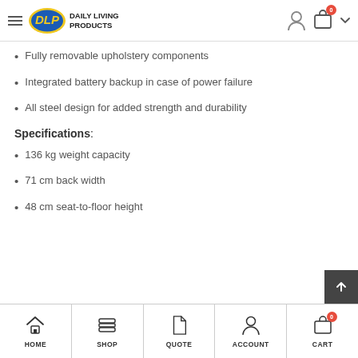Daily Living Products — navigation header
Fully removable upholstery components
Integrated battery backup in case of power failure
All steel design for added strength and durability
Specifications:
136 kg weight capacity
71 cm back width
48 cm seat-to-floor height
HOME   SHOP   QUOTE   ACCOUNT   CART